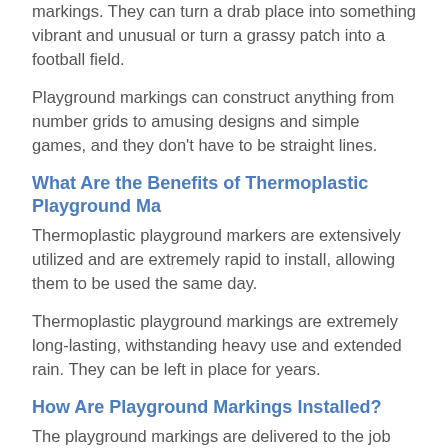markings. They can turn a drab place into something vibrant and unusual or turn a grassy patch into a football field.
Playground markings can construct anything from number grids to amusing designs and simple games, and they don't have to be straight lines.
What Are the Benefits of Thermoplastic Playground Ma...
Thermoplastic playground markers are extensively utilized and are extremely rapid to install, allowing them to be used the same day.
Thermoplastic playground markings are extremely long-lasting, withstanding heavy use and extended rain. They can be left in place for years.
How Are Playground Markings Installed?
The playground markings are delivered to the job site in pre-cut sheets of material by our expert installers. After that, we use a specialized priming solution to prepare the current playground.
The markings are placed and heated after they have been primed.
How Long Will Your Playground Markings Take To Ins...